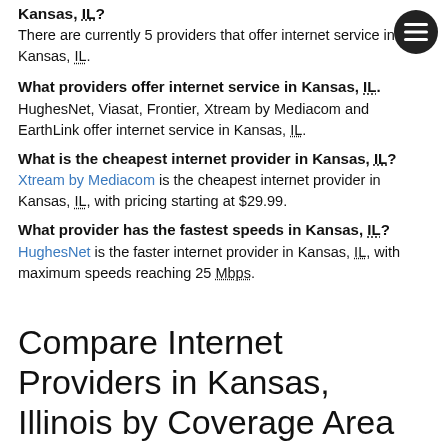Kansas, IL?
There are currently 5 providers that offer internet service in Kansas, IL.
What providers offer internet service in Kansas, IL.
HughesNet, Viasat, Frontier, Xtream by Mediacom and EarthLink offer internet service in Kansas, IL.
What is the cheapest internet provider in Kansas, IL?
Xtream by Mediacom is the cheapest internet provider in Kansas, IL, with pricing starting at $29.99.
What provider has the fastest speeds in Kansas, IL?
HughesNet is the faster internet provider in Kansas, IL, with maximum speeds reaching 25 Mbps.
Compare Internet Providers in Kansas, Illinois by Coverage Area